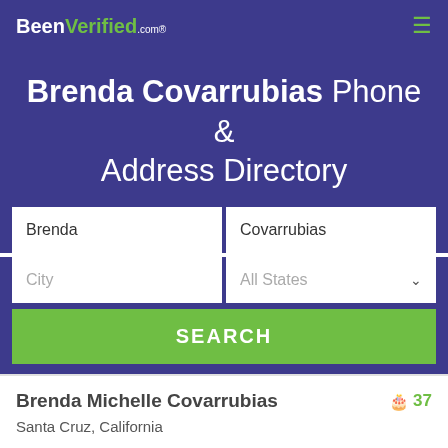BeenVerified.com
Brenda Covarrubias Phone & Address Directory
Brenda | Covarrubias
City | All States
SEARCH
Brenda Michelle Covarrubias  37
Santa Cruz, California